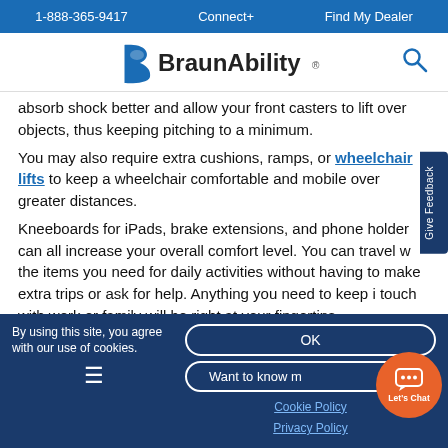1-888-365-9417   Connect+   Find My Dealer
[Figure (logo): BraunAbility logo with blue stylized 'B' icon and wordmark]
absorb shock better and allow your front casters to lift over objects, thus keeping pitching to a minimum.
You may also require extra cushions, ramps, or wheelchair lifts to keep a wheelchair comfortable and mobile over greater distances.
Kneeboards for iPads, brake extensions, and phone holders can all increase your overall comfort level. You can travel with the items you need for daily activities without having to make extra trips or ask for help. Anything you need to keep in touch with work or family will be right at your fingertips.
Some people require extra back support or handle
By using this site, you agree with our use of cookies.
OK
Want to know more
Cookie Policy
Privacy Policy